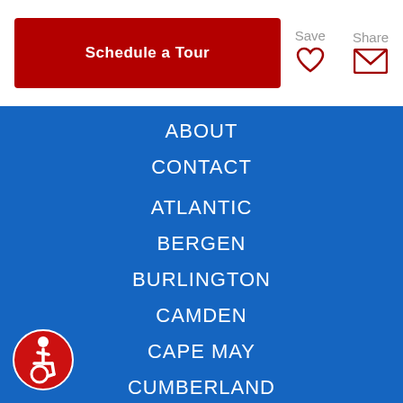Schedule a Tour
Save
Share
ABOUT
CONTACT
ATLANTIC
BERGEN
BURLINGTON
CAMDEN
CAPE MAY
CUMBERLAND
ESSEX
GLOUCESTER
[Figure (illustration): Accessibility icon — circular red badge with white wheelchair user symbol]